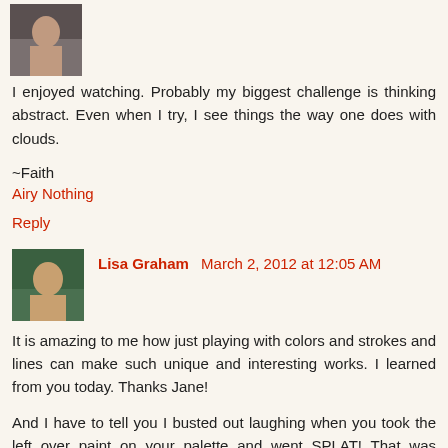I enjoyed watching. Probably my biggest challenge is thinking abstract. Even when I try, I see things the way one does with clouds.
~Faith
Airy Nothing
Reply
Lisa Graham   March 2, 2012 at 12:05 AM
It is amazing to me how just playing with colors and strokes and lines can make such unique and interesting works. I learned from you today. Thanks Jane!
And I have to tell you I busted out laughing when you took the left over paint on your palette and went SPLAT! That was exactly what I thought you would do in the two seconds of contemplating what to do with it. Totally what I would have done too. Now I would love to sit at a table and paint with you.
Reply